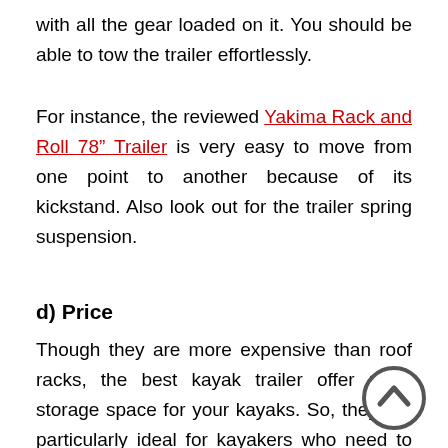with all the gear loaded on it. You should be able to tow the trailer effortlessly.
For instance, the reviewed Yakima Rack and Roll 78” Trailer is very easy to move from one point to another because of its kickstand. Also look out for the trailer spring suspension.
d) Price
Though they are more expensive than roof racks, the best kayak trailer offer more storage space for your kayaks. So, they are particularly ideal for kayakers who need to carry more than two kayaks or those who are tired of holes in their car roof caused by roof